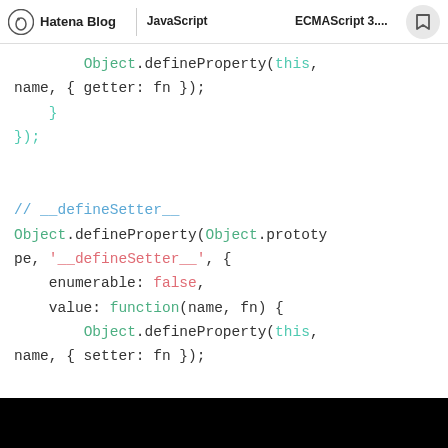Hatena Blog | JavaScript ECMAScript 3....
[Figure (screenshot): Code snippet showing JavaScript Object.defineProperty usage for __defineSetter__ polyfill]
Black bar at bottom of page